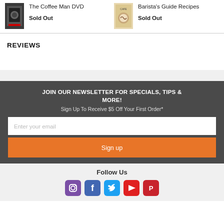[Figure (photo): Product thumbnail for The Coffee Man DVD - dark image of a man]
The Coffee Man DVD
Sold Out
[Figure (photo): Product thumbnail for Barista's Guide Recipes - book cover with coffee art]
Barista's Guide Recipes
Sold Out
REVIEWS
JOIN OUR NEWSLETTER FOR SPECIALS, TIPS & MORE!
Sign Up To Receive $5 Off Your First Order*
Enter your email
Sign up
Follow Us